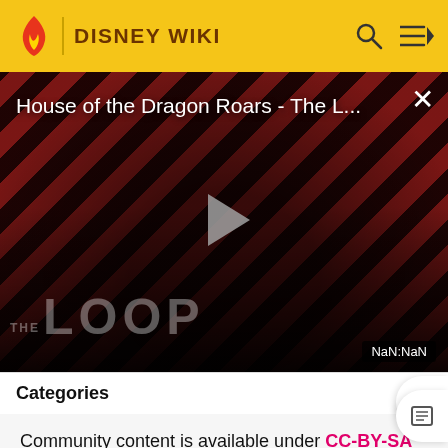DISNEY WIKI
[Figure (screenshot): Video thumbnail for 'House of the Dragon Roars - The L...' showing two people against a red diagonal stripe background with THE LOOP logo, a play button in the center, close button top right, and NaN:NaN timestamp badge bottom right]
Categories
Community content is available under CC-BY-SA unl otherwise noted.